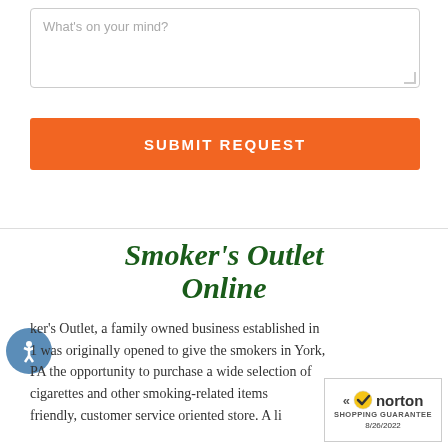What's on your mind?
SUBMIT REQUEST
[Figure (logo): Smoker's Outlet Online logo in dark green italic script]
ker's Outlet, a family owned business established in 1 was originally opened to give the smokers in York, PA the opportunity to purchase a wide selection of cigarettes and other smoking-related items 1 friendly, customer service oriented store. A li
[Figure (other): Norton Shopping Guarantee badge dated 8/26/2022]